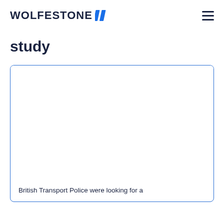WOLFESTONE
study
[Figure (other): Card with blue border containing an image area (blank/white) and text at the bottom reading 'British Transport Police were looking for a']
British Transport Police were looking for a